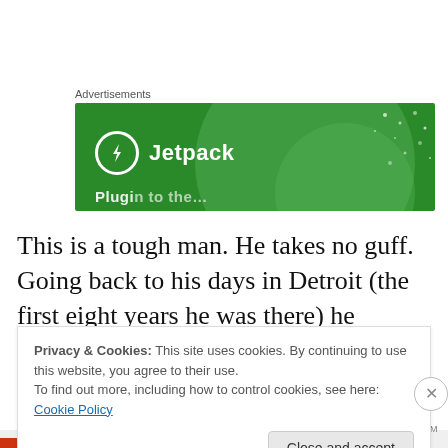Advertisements
[Figure (illustration): Jetpack advertisement banner with green background, circular light green overlay, white dots, Jetpack logo (lightning bolt in circle) and brand name 'Jetpack', and partial tagline text at bottom.]
This is a tough man. He takes no guff. Going back to his days in Detroit (the first eight years he was there) he became a free agent in 1985 but received no meaningful
Privacy & Cookies: This site uses cookies. By continuing to use this website, you agree to their use.
To find out more, including how to control cookies, see here: Cookie Policy
Close and accept